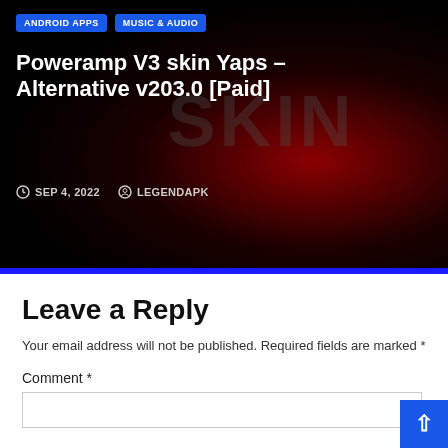[Figure (screenshot): Dark themed app card showing Poweramp V3 skin with SKIN text watermark and red radial glow, two blue category badge pills reading ANDROID APPS and MUSIC & AUDIO, bold white title text, and metadata row with date SEP 4, 2022 and author LEGENDAPK]
Leave a Reply
Your email address will not be published. Required fields are marked *
Comment *